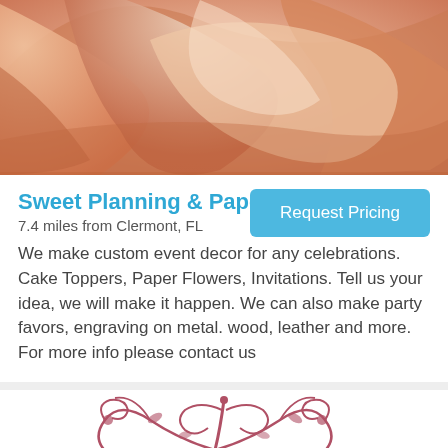[Figure (photo): Close-up photo of peach/salmon colored rose petals or paper flowers with soft curling shapes]
Sweet Planning & Paper Co.
7.4 miles from Clermont, FL
Request Pricing
We make custom event decor for any celebrations. Cake Toppers, Paper Flowers, Invitations. Tell us your idea, we will make it happen. We can also make party favors, engraving on metal. wood, leather and more. For more info please contact us
[Figure (illustration): Decorative floral scroll/flourish illustration in dark rose/burgundy color on white background]